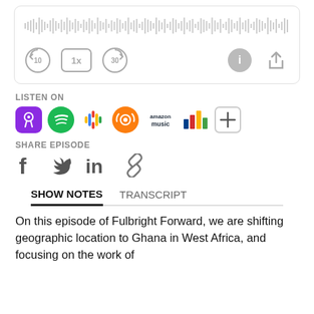[Figure (screenshot): Audio player with waveform and playback controls: rewind 10s, 1x speed, forward 30s, info, and share buttons]
LISTEN ON
[Figure (infographic): Podcast platform icons: Apple Podcasts (purple), Spotify (green), Google Podcasts (colorful dots), Overcast (orange), Amazon Music, a colored bar chart icon, and a plus button]
SHARE EPISODE
[Figure (infographic): Social share icons: Facebook (f), Twitter (bird), LinkedIn (in), and link/chain icon]
SHOW NOTES    TRANSCRIPT
On this episode of Fulbright Forward, we are shifting geographic location to Ghana in West Africa, and focusing on the work of